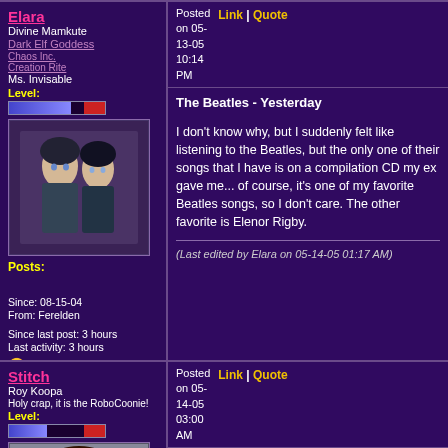Elara
Divine Mamkute
Dark Elf Goddess
Chaos Inc.
Creation Rite
Ms. Invisable
Level:
Posts:
Since: 08-15-04
From: Ferelden
Since last post: 3 hours
Last activity: 3 hours
no user specified
Posted on 05-13-05 10:14 PM
Link | Quote
The Beatles - Yesterday
I don't know why, but I suddenly felt like listening to the Beatles, but the only one of their songs that I have is on a compilation CD my ex gave me... of course, it's one of my favorite Beatles songs, so I don't care. The other favorite is Elenor Rigby.
(Last edited by Elara on 05-14-05 01:17 AM)
Stitch
Roy Koopa
Holy crap, it is the RoboCoonie!
Level:
Posts:
Posted on 05-14-05 03:00 AM
Link | Quote
I'm listening to the 120-piece philharmonic orchestra that performs in that sinus cavity just below my left eye. They're playing something that sounds close to some movie soundtrack...or a glorified version of the Legend of Zelda theme. Either way, it's ki